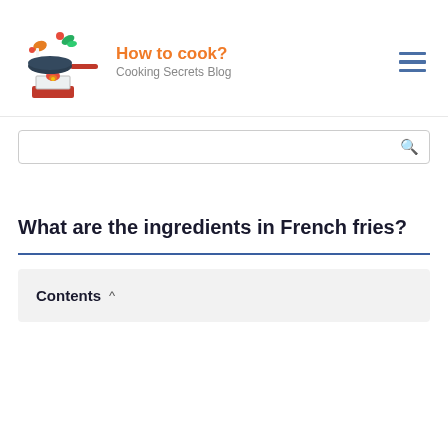How to cook? Cooking Secrets Blog
[Figure (illustration): Cooking blog logo: a pan with food flying over a flame on a stove, with vegetables and a chicken drumstick]
What are the ingredients in French fries?
Contents ^